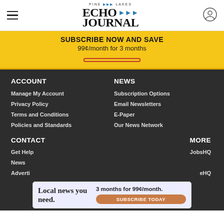Pine Lakes Echo Journal
SUBSCRIBE NOW AND SAVE
99¢/month for 3 months
ACCOUNT
Manage My Account
Privacy Policy
Terms and Conditions
Policies and Standards
NEWS
Subscription Options
Email Newsletters
E-Paper
Our News Network
CONTACT
Get Help
News
Advertising
MORE
JobsHQ
eHQ
[Figure (infographic): Ad banner: Local news you need. 3 months for 99¢/month. SUBSCRIBE TODAY button.]